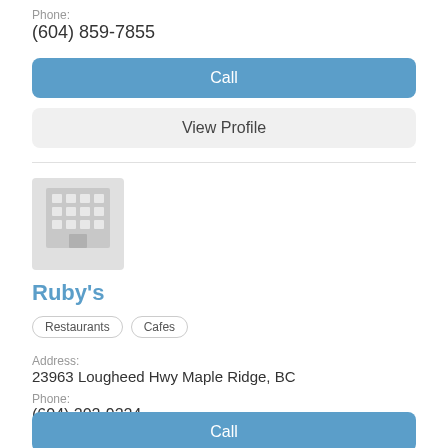Phone:
(604) 859-7855
Call
View Profile
[Figure (illustration): Gray building/office icon placeholder image]
Ruby's
Restaurants
Cafes
Address:
23963 Lougheed Hwy Maple Ridge, BC
Phone:
(604) 202-9224
Call